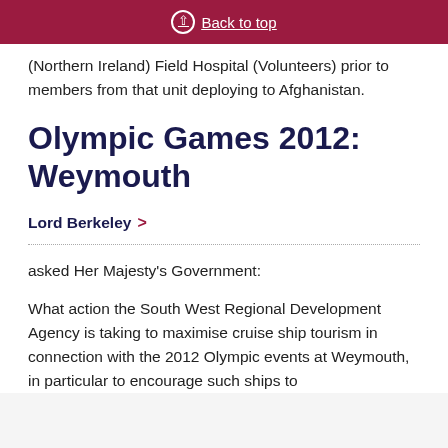Back to top
(Northern Ireland) Field Hospital (Volunteers) prior to members from that unit deploying to Afghanistan.
Olympic Games 2012: Weymouth
Lord Berkeley >
asked Her Majesty's Government:
What action the South West Regional Development Agency is taking to maximise cruise ship tourism in connection with the 2012 Olympic events at Weymouth, in particular to encourage such ships to